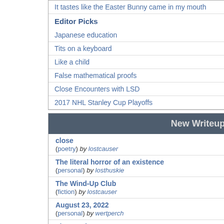It tastes like the Easter Bunny came in my mouth
Editor Picks
Japanese education
Tits on a keyboard
Like a child
False mathematical proofs
Close Encounters with LSD
2017 NHL Stanley Cup Playoffs
New Writeups
close
(poetry) by lostcauser
The literal horror of an existence
(personal) by losthuskie
The Wind-Up Club
(fiction) by lostcauser
August 23, 2022
(personal) by wertperch
The Sandman
(review) by JD
The Saddest Sound in the World
(poetry) by lostcauser
How to take photographs of objects
(how-to) by etouffee
The Kingdom of Loathing